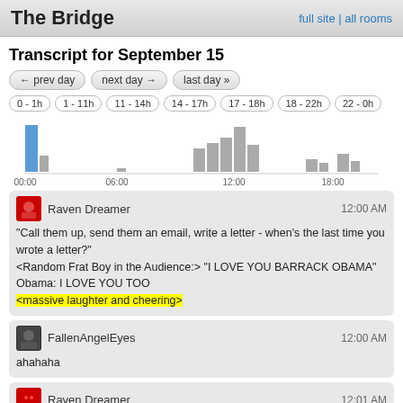The Bridge | full site | all rooms
Transcript for September 15
← prev day | next day → | last day »
0 - 1h | 1 - 11h | 11 - 14h | 14 - 17h | 17 - 18h | 18 - 22h | 22 - 0h
[Figure (bar-chart): Activity over time]
Raven Dreamer 12:00 AM
"Call them up, send them an email, write a letter - when's the last time you wrote a letter?"
<Random Frat Boy in the Audience:> "I LOVE YOU BARRACK OBAMA"
Obama: I LOVE YOU TOO
<massive laughter and cheering>
FallenAngelEyes 12:00 AM
ahahaha
Raven Dreamer 12:01 AM
It was so epic. He turned without missing a beat.
FallenAngelEyes 12:01 AM